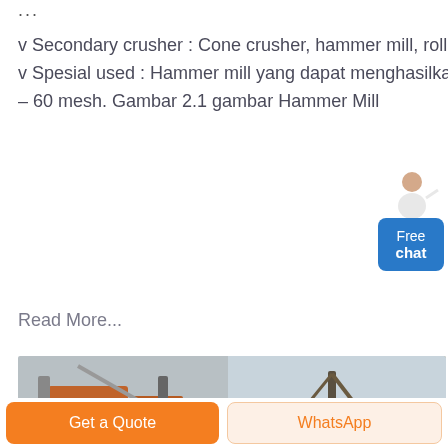...
v Secondary crusher : Cone crusher, hammer mill, roll crusher, stamp mill. v Spesial used : Hammer mill yang dapat menghasilkan produk berukuran – 60 mesh. Gambar 2.1 gambar Hammer Mill
Read More...
[Figure (photo): Two photos of industrial crushing/mining equipment and machinery on site.]
CACO₂ Presentation | PDF |
Get a Quote
WhatsApp